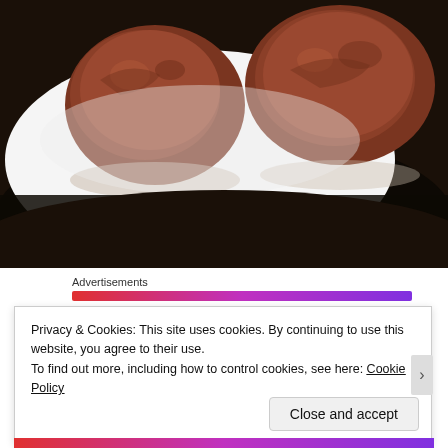[Figure (photo): Close-up photo of chocolate-covered food items on a white plate against a dark/black background]
Advertisements
Privacy & Cookies: This site uses cookies. By continuing to use this website, you agree to their use.
To find out more, including how to control cookies, see here: Cookie Policy
Close and accept